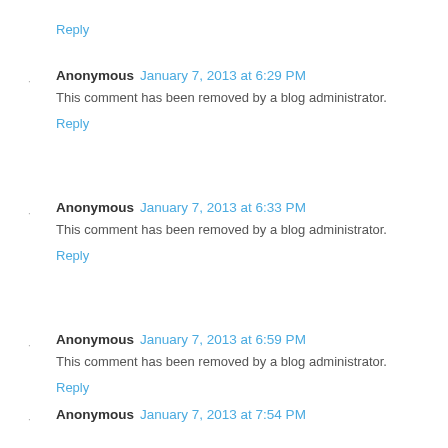Reply
Anonymous  January 7, 2013 at 6:29 PM
This comment has been removed by a blog administrator.
Reply
Anonymous  January 7, 2013 at 6:33 PM
This comment has been removed by a blog administrator.
Reply
Anonymous  January 7, 2013 at 6:59 PM
This comment has been removed by a blog administrator.
Reply
Anonymous  January 7, 2013 at 7:54 PM